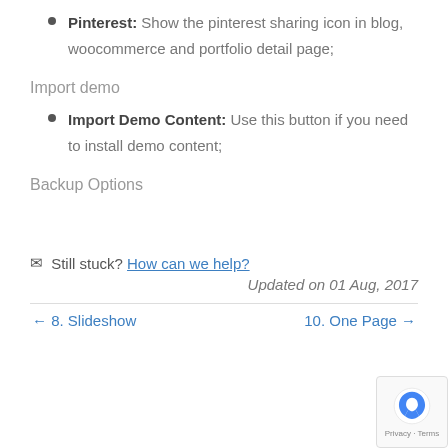Pinterest: Show the pinterest sharing icon in blog, woocommerce and portfolio detail page;
Import demo
Import Demo Content: Use this button if you need to install demo content;
Backup Options
Still stuck? How can we help?
Updated on 01 Aug, 2017
← 8. Slideshow
10. One Page →